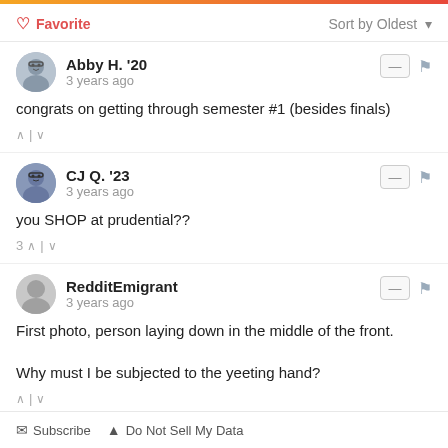♡ Favorite   Sort by Oldest
Abby H. '20
3 years ago
congrats on getting through semester #1 (besides finals)
CJ Q. '23
3 years ago
you SHOP at prudential??
RedditEmigrant
3 years ago
First photo, person laying down in the middle of the front.

Why must I be subjected to the yeeting hand?
✉ Subscribe  ▲ Do Not Sell My Data